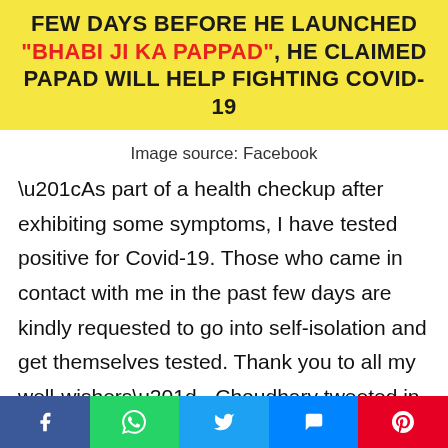[Figure (infographic): Yellow banner with bold black and red text: FEW DAYS BEFORE HE LAUNCHED "BHABI JI KA PAPPAD", HE CLAIMED PAPAD WILL HELP FIGHTING COVID-19]
Image source: Facebook
“As part of a health checkup after exhibiting some symptoms, I have tested positive for Covid-19. Those who came in contact with me in the past few days are kindly requested to go into self-isolation and get themselves tested. Thank you to all my well-wishers” - Choudhary tweeted in Hindi.
Few days before he launched "Bhabi ji ka...